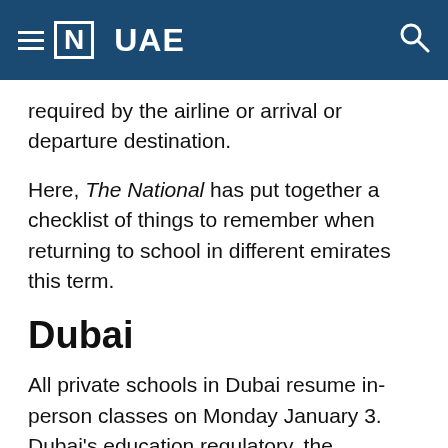≡ [N] UAE
required by the airline or arrival or departure destination.
Here, The National has put together a checklist of things to remember when returning to school in different emirates this term.
Dubai
All private schools in Dubai resume in-person classes on Monday January 3. Dubai's education regulatory, the Knowledge and Human Development Authority, does not require pupils to show proof of a valid negative